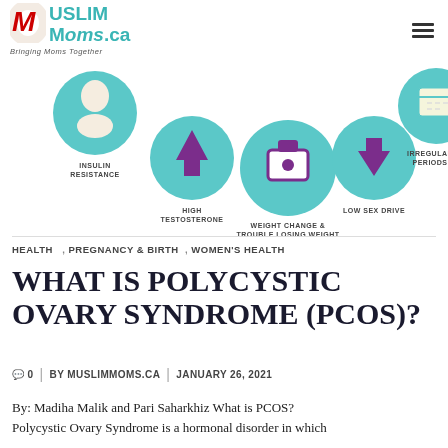MuslimMoms.ca – Bringing Moms Together
[Figure (infographic): PCOS symptoms infographic showing icons in teal circles: Insulin Resistance, High Testosterone, Weight Change & Trouble Losing Weight, Low Sex Drive, Irregular Periods]
HEALTH , PREGNANCY & BIRTH , WOMEN'S HEALTH
WHAT IS POLYCYSTIC OVARY SYNDROME (PCOS)?
0   BY MUSLIMMOMS.CA | JANUARY 26, 2021
By: Madiha Malik and Pari Saharkhiz What is PCOS? Polycystic Ovary Syndrome is a hormonal disorder in which